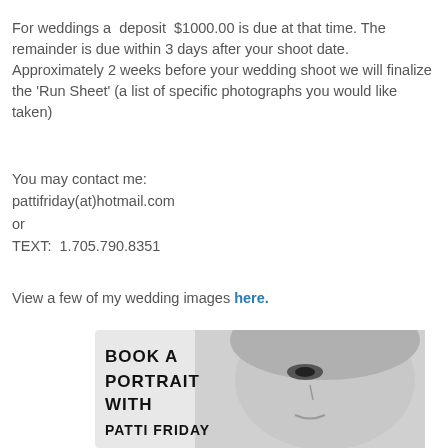For weddings a  deposit  $1000.00 is due at that time. The remainder is due within 3 days after your shoot date. Approximately 2 weeks before your wedding shoot we will finalize the 'Run Sheet' (a list of specific photographs you would like taken)
You may contact me:
pattifriday(at)hotmail.com
or
TEXT:  1.705.790.8351
View a few of my wedding images here.
[Figure (photo): Black and white promotional photo showing a woman's face (blonde, looking up) with handwritten-style text overlay reading 'BOOK A PORTRAIT WITH PATTI FRIDAY']